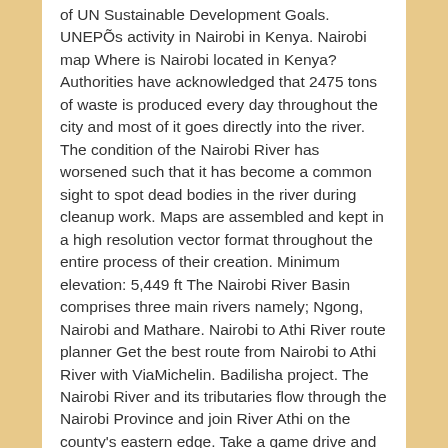of UN Sustainable Development Goals. UNEPÕs activity in Nairobi in Kenya. Nairobi map Where is Nairobi located in Kenya? Authorities have acknowledged that 2475 tons of waste is produced every day throughout the city and most of it goes directly into the river. The condition of the Nairobi River has worsened such that it has become a common sight to spot dead bodies in the river during cleanup work. Maps are assembled and kept in a high resolution vector format throughout the entire process of their creation. Minimum elevation: 5,449 ft The Nairobi River Basin comprises three main rivers namely; Ngong, Nairobi and Mathare. Nairobi to Athi River route planner Get the best route from Nairobi to Athi River with ViaMichelin. Badilisha project. The Nairobi River and its tributaries flow through the Nairobi Province and join River Athi on the county's eastern edge. Take a game drive and spot some of Kenya's “Big Five” without truly leaving